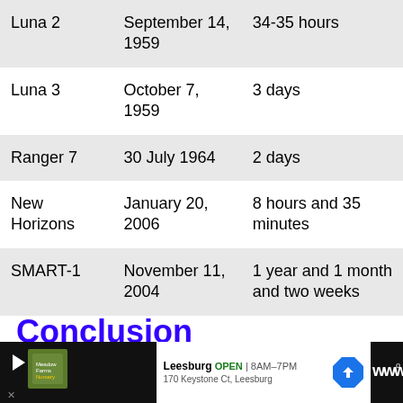| Mission | Date | Travel Time |
| --- | --- | --- |
| Luna 2 | September 14, 1959 | 34-35 hours |
| Luna 3 | October 7, 1959 | 3 days |
| Ranger 7 | 30 July 1964 | 2 days |
| New Horizons | January 20, 2006 | 8 hours and 35 minutes |
| SMART-1 | November 11, 2004 | 1 year and 1 month and two weeks |
Conclusion